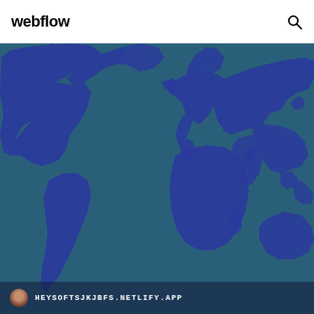webflow
[Figure (map): World map illustration with dark blue continents on a teal/blue ocean background]
HEYSOFTSJKJBFS.NETLIFY.APP